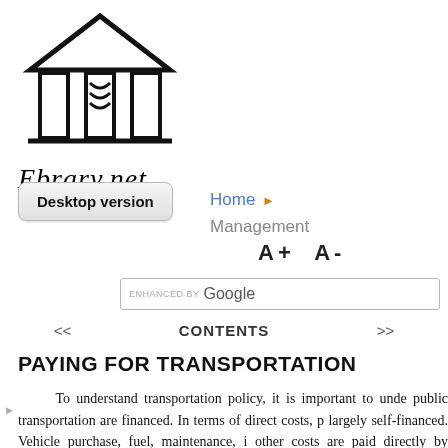[Figure (logo): Ebrary.net logo: a building/library icon with columns and roof, with open book at base, and cursive 'Ebrary.net' text below]
Desktop version
Home ▶ Management
A+  A-
ENHANCED BY Google
<<   CONTENTS   >>
PAYING FOR TRANSPORTATION
To understand transportation policy, it is important to understand how public transportation are financed. In terms of direct costs, private transportation is largely self-financed. Vehicle purchase, fuel, maintenance, insurance, and other costs are paid directly by vehicle owners and operators. Road